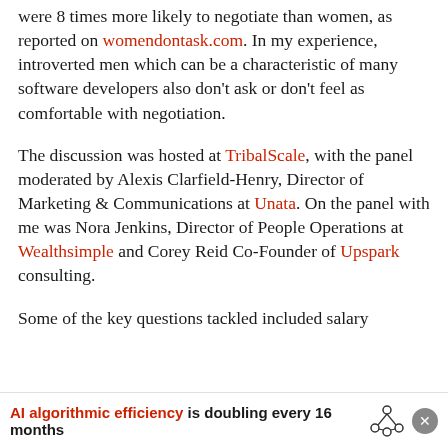were 8 times more likely to negotiate than women, as reported on womendontask.com. In my experience, introverted men which can be a characteristic of many software developers also don't ask or don't feel as comfortable with negotiation.
The discussion was hosted at TribalScale, with the panel moderated by Alexis Clarfield-Henry, Director of Marketing & Communications at Unata. On the panel with me was Nora Jenkins, Director of People Operations at Wealthsimple and Corey Reid Co-Founder of Upspark consulting.
Some of the key questions tackled included salary
AI algorithmic efficiency is doubling every 16 months